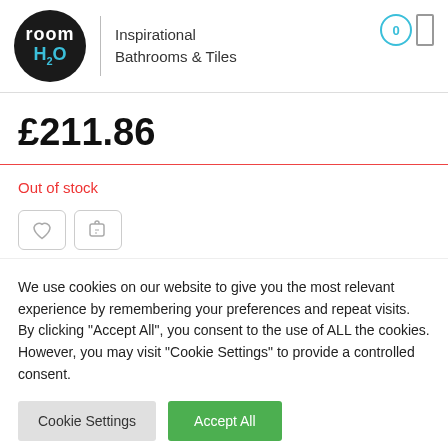[Figure (logo): room H2O logo: black circle with 'room' in white and 'H2O' in cyan, followed by tagline 'Inspirational Bathrooms & Tiles']
£211.86
Out of stock
We use cookies on our website to give you the most relevant experience by remembering your preferences and repeat visits. By clicking "Accept All", you consent to the use of ALL the cookies. However, you may visit "Cookie Settings" to provide a controlled consent.
Cookie Settings   Accept All